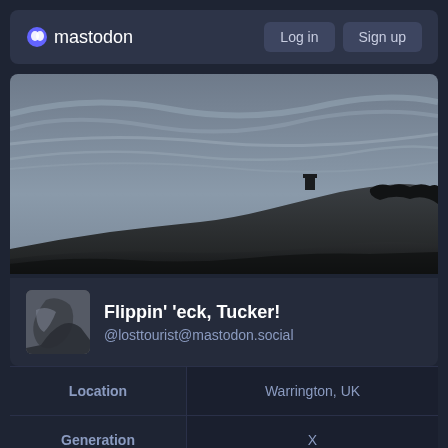mastodon  Log in  Sign up
[Figure (photo): Black and white landscape photo of a hill with a tower/structure at the top, dramatic cloudy sky above, rolling hills and trees below]
Flippin' 'eck, Tucker!
@losttourist@mastodon.social
|  |  |
| --- | --- |
| Location | Warrington, UK |
| Generation | X |